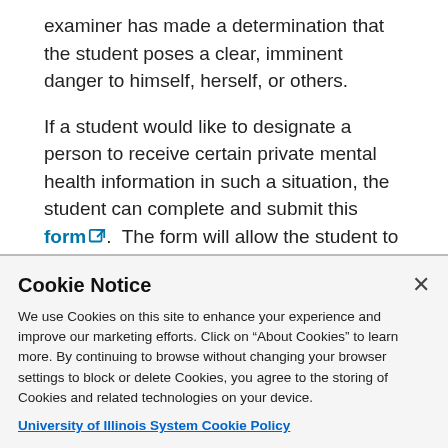examiner has made a determination that the student poses a clear, imminent danger to himself, herself, or others.
If a student would like to designate a person to receive certain private mental health information in such a situation, the student can complete and submit this form. The form will allow the student to authorize or decline to authorize the disclosure of the information...
Cookie Notice
We use Cookies on this site to enhance your experience and improve our marketing efforts. Click on "About Cookies" to learn more. By continuing to browse without changing your browser settings to block or delete Cookies, you agree to the storing of Cookies and related technologies on your device.
University of Illinois System Cookie Policy